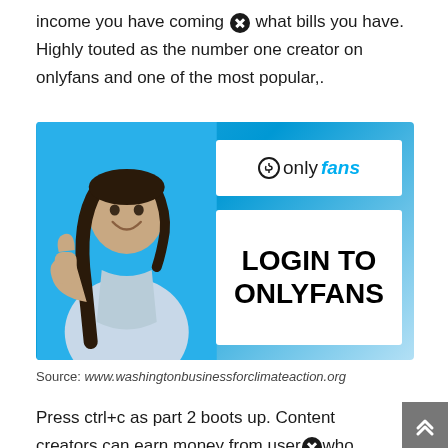income you have coming ✕ what bills you have. Highly touted as the number one creator on onlyfans and one of the most popular,.
[Figure (screenshot): OnlyFans promotional image showing a woman with braided hair giving a thumbs up on a blue background, with OnlyFans logo and 'LOGIN TO ONLYFANS' text on the right side.]
Source: www.washingtonbusinessforclimateaction.org
Press ctrl+c as part 2 boots up. Content creators can earn money from users who subscribe to their